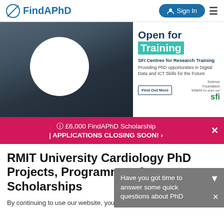[Figure (screenshot): FindAPhD website navigation bar with logo, Sign In button, and hamburger menu]
[Figure (photo): SFI Open for Training advertisement banner with a person working on machinery and text about SFI Centres for Research Training providing PhD opportunities in Digital Data and ICT Skills for the Future]
[Figure (infographic): Pink/crimson scholarship banner reading: £6,000 FindAPhD Scholarship | APPLICATIONS CLOSING SOON! with a close X button]
RMIT University Cardiology PhD Projects, Programmes & Scholarships
By continuing to use our website, you agree to our privacy policy
[Figure (screenshot): Grey popup overlay with text: Have you got time to answer some quick questions about PhD]